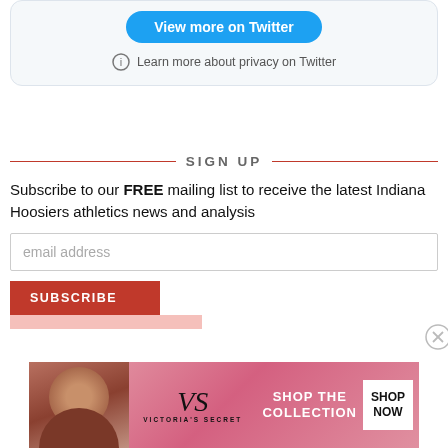[Figure (screenshot): Twitter embedded widget card with 'View more on Twitter' blue button and 'Learn more about privacy on Twitter' link with info icon]
SIGN UP
Subscribe to our FREE mailing list to receive the latest Indiana Hoosiers athletics news and analysis
[Figure (screenshot): Email address input field placeholder, Subscribe red button, Victoria's Secret advertisement banner at bottom]